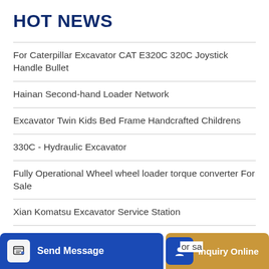HOT NEWS
For Caterpillar Excavator CAT E320C 320C Joystick Handle Bullet
Hainan Second-hand Loader Network
Excavator Twin Kids Bed Frame Handcrafted Childrens
330C - Hydraulic Excavator
Fully Operational Wheel wheel loader torque converter For Sale
Xian Komatsu Excavator Service Station